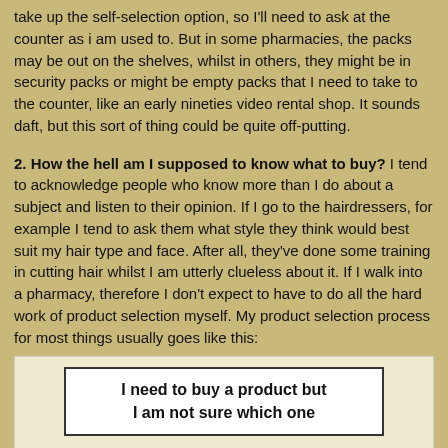take up the self-selection option, so I'll need to ask at the counter as i am used to. But in some pharmacies, the packs may be out on the shelves, whilst in others, they might be in security packs or might be empty packs that I need to take to the counter, like an early nineties video rental shop. It sounds daft, but this sort of thing could be quite off-putting.
2. How the hell am I supposed to know what to buy? I tend to acknowledge people who know more than I do about a subject and listen to their opinion. If I go to the hairdressers, for example I tend to ask them what style they think would best suit my hair type and face. After all, they've done some training in cutting hair whilst I am utterly clueless about it. If I walk into a pharmacy, therefore I don't expect to have to do all the hard work of product selection myself. My product selection process for most things usually goes like this:
[Figure (flowchart): Flowchart starting with a box labeled 'I need to buy a product but I am not sure which one', with a vertical line descending from the bottom of the box.]